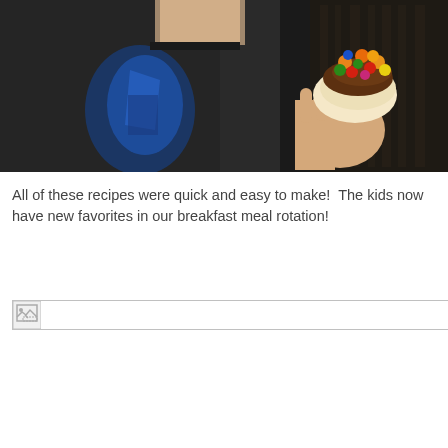[Figure (photo): A child wearing a dark hoodie with a blue graphic design holding up a small chocolate-covered pastry or donut topped with colorful candy pieces (resembling Fruity Pebbles or similar cereal). The background is dark/blurred bookshelves.]
All of these recipes were quick and easy to make!  The kids now have new favorites in our breakfast meal rotation!
[Figure (photo): A broken/unloaded image placeholder shown at the bottom of the page.]